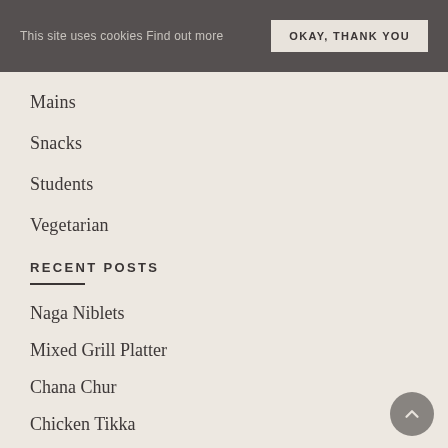This site uses cookies Find out more   OKAY, THANK YOU
Mains
Snacks
Students
Vegetarian
RECENT POSTS
Naga Niblets
Mixed Grill Platter
Chana Chur
Chicken Tikka